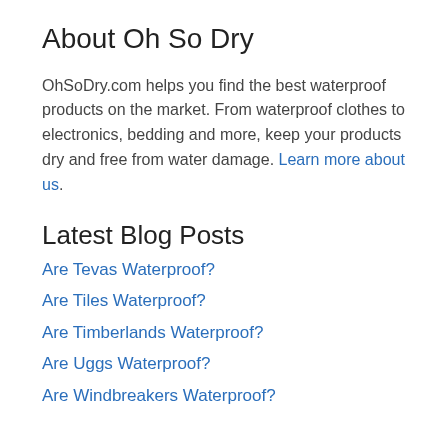About Oh So Dry
OhSoDry.com helps you find the best waterproof products on the market. From waterproof clothes to electronics, bedding and more, keep your products dry and free from water damage. Learn more about us.
Latest Blog Posts
Are Tevas Waterproof?
Are Tiles Waterproof?
Are Timberlands Waterproof?
Are Uggs Waterproof?
Are Windbreakers Waterproof?